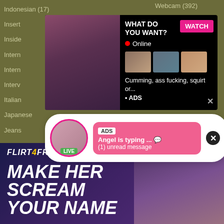Indonesian (17)
Insert
Inside
Intern
Intern
Interv
Italian
Japanese
Jeans
Webcam (392)
[Figure (screenshot): Adult advertisement popup with black background. Shows 'WHAT DO YOU WANT?' text, WATCH button in pink, red Online indicator, three thumbnail images, and text 'Cumming, ass fucking, squirt or... • ADS' with X close button.]
[Figure (screenshot): Notification popup on white pill-shaped background. Shows avatar with LIVE badge, pink ADS tag, 'Angel is typing ... ' and '(1) unread message' text, with black X close button.]
[Figure (screenshot): FLIRT4FREE banner advertisement with dark purple background. Shows italic bold logo 'FLIRT4FREE.' and large bold italic text 'MAKE HER SCREAM YOUR NAME' with female model on right side.]